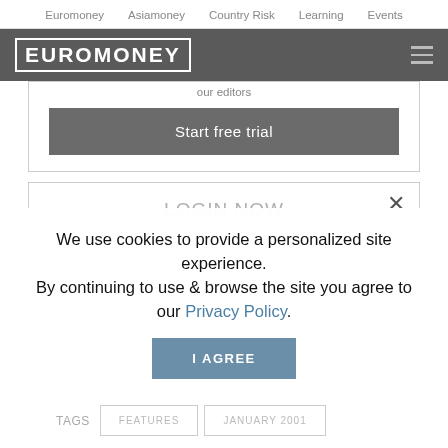Euromoney  Asiamoney  Country Risk  Learning  Events
[Figure (logo): Euromoney logo in white text on dark gray header bar with hamburger menu icon]
our editors
Start free trial
LOGIN NOW
We use cookies to provide a personalized site experience.
By continuing to use & browse the site you agree to our Privacy Policy.
I AGREE
TAGS  FEATURES  JANUARY 2001